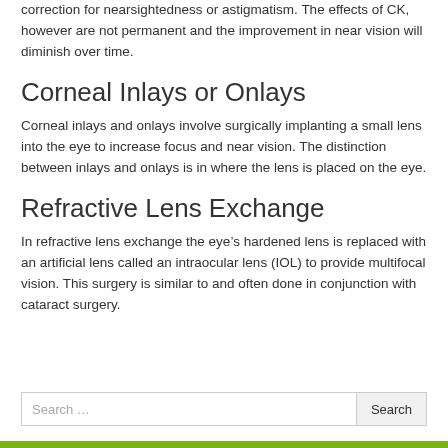correction for nearsightedness or astigmatism. The effects of CK, however are not permanent and the improvement in near vision will diminish over time.
Corneal Inlays or Onlays
Corneal inlays and onlays involve surgically implanting a small lens into the eye to increase focus and near vision. The distinction between inlays and onlays is in where the lens is placed on the eye.
Refractive Lens Exchange
In refractive lens exchange the eye’s hardened lens is replaced with an artificial lens called an intraocular lens (IOL) to provide multifocal vision. This surgery is similar to and often done in conjunction with cataract surgery.